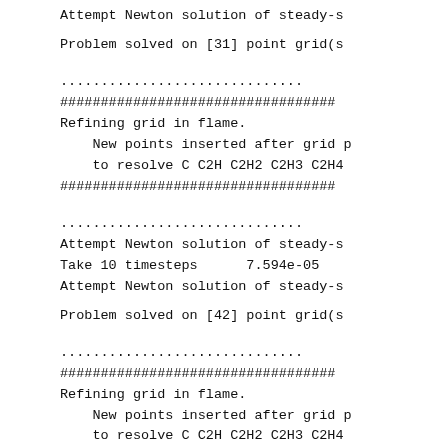Attempt Newton solution of steady-s
Problem solved on [31] point grid(s
..............................
##################################
Refining grid in flame.
New points inserted after grid p
to resolve C C2H C2H2 C2H3 C2H4
##################################
..............................
Attempt Newton solution of steady-s
Take 10 timesteps      7.594e-05
Attempt Newton solution of steady-s
Problem solved on [42] point grid(s
..............................
##################################
Refining grid in flame.
New points inserted after grid p
to resolve C C2H C2H2 C2H3 C2H4
##################################